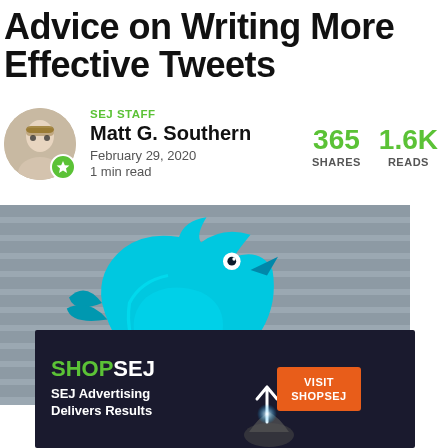Advice on Writing More Effective Tweets
SEJ STAFF
Matt G. Southern
February 29, 2020
1 min read
365 SHARES  1.6K READS
[Figure (photo): Large 3D Twitter bird logo in cyan/blue mounted on a building facade with horizontal slat background]
[Figure (infographic): SHOPSEJ advertisement banner: SHOP in green, SEJ in white, 'SEJ Advertising Delivers Results', VISIT SHOPSEJ orange button, hand holding glowing arrow graphic]